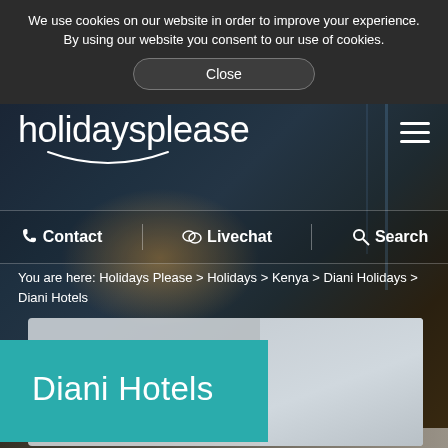We use cookies on our website in order to improve your experience. By using our website you consent to our use of cookies.
Close
[Figure (screenshot): Website header hero image with dark blurred background showing restaurant/lodge interior]
holidaysplease
Contact  Livechat  Search
You are here: Holidays Please > Holidays > Kenya > Diani Holidays > Diani Hotels
Diani Hotels